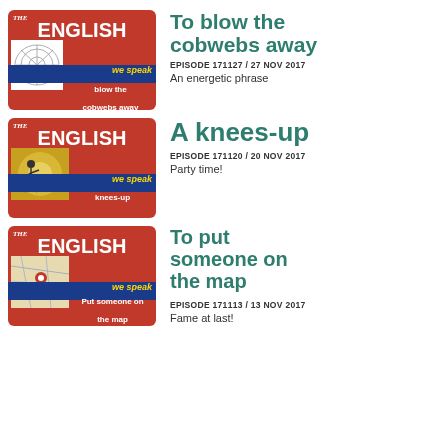[Figure (illustration): The English We Speak podcast thumbnail - blow the cobwebs away]
To blow the cobwebs away
EPISODE 171127 / 27 NOV 2017
An energetic phrase
[Figure (illustration): The English We Speak podcast thumbnail - knees-up]
A knees-up
EPISODE 171120 / 20 NOV 2017
Party time!
[Figure (illustration): The English We Speak podcast thumbnail - put someone on the map]
To put someone on the map
EPISODE 171113 / 13 NOV 2017
Fame at last!